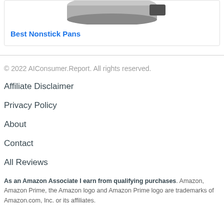[Figure (photo): Partial image of nonstick pans, cropped at top of page]
Best Nonstick Pans
© 2022 AIConsumer.Report. All rights reserved.
Affiliate Disclaimer
Privacy Policy
About
Contact
All Reviews
As an Amazon Associate I earn from qualifying purchases. Amazon, Amazon Prime, the Amazon logo and Amazon Prime logo are trademarks of Amazon.com, Inc. or its affiliates.